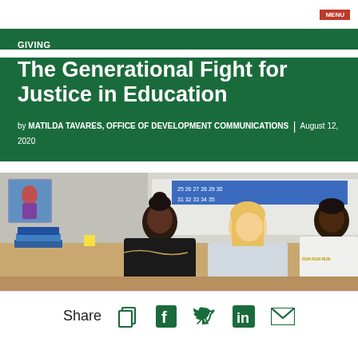GIVING
The Generational Fight for Justice in Education
by MATILDA TAVARES, OFFICE OF DEVELOPMENT COMMUNICATIONS | August 12, 2020
[Figure (photo): Students in a classroom sitting at desks, working. Number cards visible on the wall in the background.]
Share